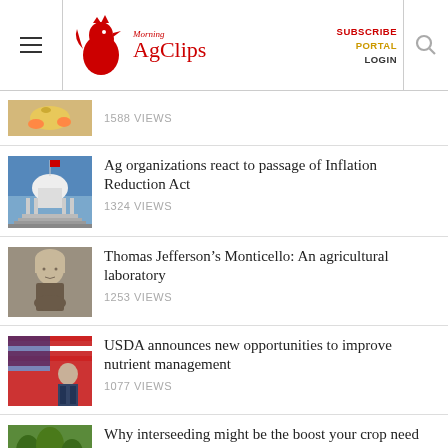Morning AgClips — SUBSCRIBE PORTAL LOGIN
1588 VIEWS
Ag organizations react to passage of Inflation Reduction Act
1324 VIEWS
Thomas Jefferson's Monticello: An agricultural laboratory
1253 VIEWS
USDA announces new opportunities to improve nutrient management
1077 VIEWS
Why interseeding might be the boost your crop need